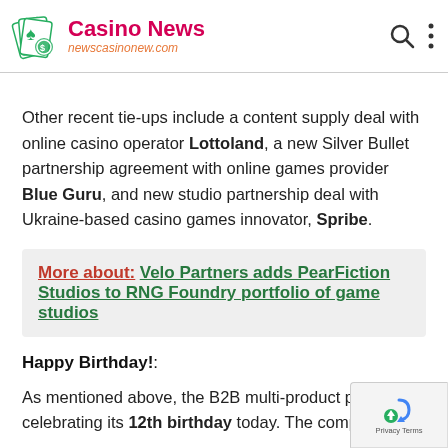Casino News newscasinonew.com
Other recent tie-ups include a content supply deal with online casino operator Lottoland, a new Silver Bullet partnership agreement with online games provider Blue Guru, and new studio partnership deal with Ukraine-based casino games innovator, Spribe.
More about:  Velo Partners adds PearFiction Studios to RNG Foundry portfolio of game studios
Happy Birthday!:
As mentioned above, the B2B multi-product provider celebrating its 12th birthday today. The company is